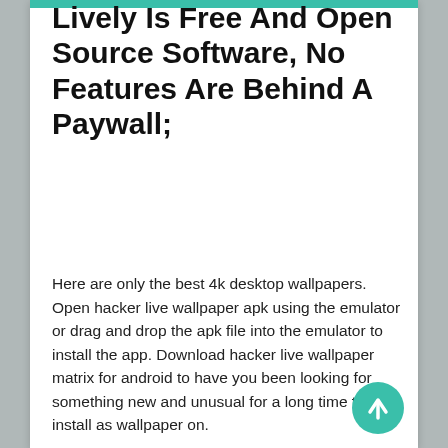Lively Is Free And Open Source Software, No Features Are Behind A Paywall;
Here are only the best 4k desktop wallpapers. Open hacker live wallpaper apk using the emulator or drag and drop the apk file into the emulator to install the app. Download hacker live wallpaper matrix for android to have you been looking for something new and unusual for a long time to install as wallpaper on.
113 Mobile Walls 7 Art 467 Images 200 Avatars 411 Gifs 4.
4k ultra hd hacker wallpapers sorting options.